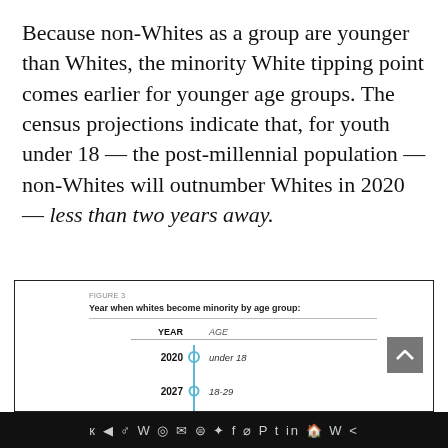Because non-Whites as a group are younger than Whites, the minority White tipping point comes earlier for younger age groups. The census projections indicate that, for youth under 18 — the post-millennial population — non-Whites will outnumber Whites in 2020 — less than two years away.
[Figure (other): FIGURE 3: Year when whites become minority by age group. Timeline showing: 2020 - under 18, 2027 - 18-29, 2033 - 30-39, 2041 - 40-49, 2050 - 50-59]
Social media share bar with icons: VK, Telegram, Reddit, WordPress, WhatsApp, Email, Layers, Twitter, Facebook, Instagram, Pinterest, Tumblr, LinkedIn, Share, W, arrow